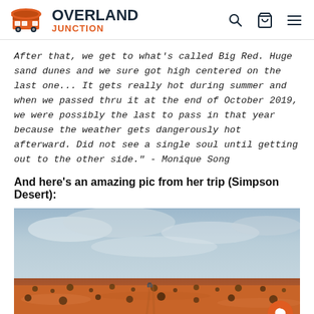OVERLAND JUNCTION
After that, we get to what's called Big Red. Huge sand dunes and we sure got high centered on the last one... It gets really hot during summer and when we passed thru it at the end of October 2019, we were possibly the last to pass in that year because the weather gets dangerously hot afterward. Did not see a single soul until getting out to the other side." - Monique Song
And here's an amazing pic from her trip (Simpson Desert):
[Figure (photo): A wide-angle photo of the Simpson Desert showing vast red sandy terrain with sparse desert scrub vegetation under a cloudy sky. A vehicle is faintly visible in the distance on a track through the desert.]